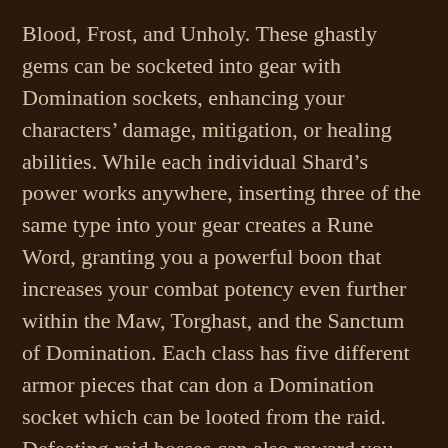Blood, Frost, and Unholy. These ghastly gems can be socketed into gear with Domination sockets, enhancing your characters' damage, mitigation, or healing abilities. While each individual Shard's power works anywhere, inserting three of the same type into your gear creates a Rune Word, granting you a powerful boon that increases your combat potency even further within the Maw, Torghast, and the Sanctum of Domination. Each class has five different armor pieces that can don a Domination socket which can be looted from the raid. Defeating raid bosses can also reward you with Stygian Embers, which you are used to upgrade your Shards and further enhance their potent bonuses.
To rank up your Shards, visit Bonesmith Heirmir in Korthia after completing Chapter 3: Focusing the Eye